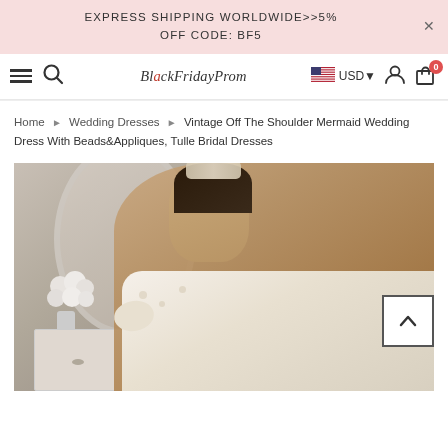EXPRESS SHIPPING WORLDWIDE>>5% OFF CODE: BF5
[Figure (screenshot): Website navigation bar with hamburger menu, search icon, BlackFridayProm logo, US flag, USD currency selector, user account icon, and cart icon with 0 badge]
Home > Wedding Dresses > Vintage Off The Shoulder Mermaid Wedding Dress With Beads&Appliques, Tulle Bridal Dresses
[Figure (photo): Bride wearing an off-the-shoulder mermaid lace wedding dress with beads and appliques, her hair in a ponytail with a crystal headpiece, looking down, with white flowers and a mirror in the background]